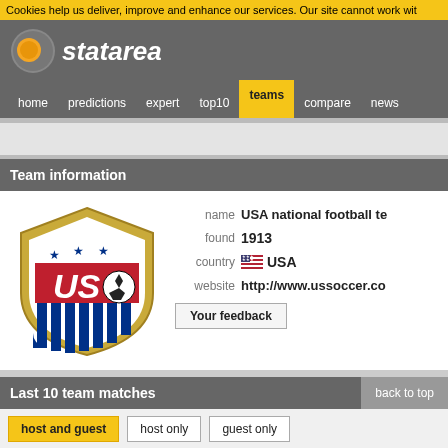Cookies help us deliver, improve and enhance our services. Our site cannot work wit
[Figure (logo): Statarea logo with orange and grey circle icon and italic white text 'statarea']
home  predictions  expert  top10  teams  compare  news
Team information
[Figure (illustration): USA Soccer (USSF) shield crest logo with stars and 'US' text on a soccer ball]
name  USA national football te
found  1913
country  USA
website  http://www.ussoccer.co
Your feedback
Last 10 team matches
back to top
host and guest
host only
guest only